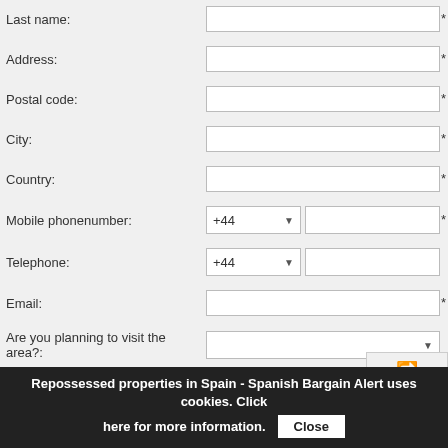Last name:
Address:
Postal code:
City:
Country:
Mobile phonenumber:
Telephone:
Email:
Are you planning to visit the area?:
Best time to contact you (day/time) -
Comments, special requests or
Repossessed properties in Spain - Spanish Bargain Alert uses cookies. Click here for more information. Close